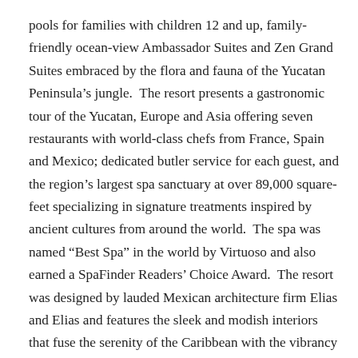pools for families with children 12 and up, family-friendly ocean-view Ambassador Suites and Zen Grand Suites embraced by the flora and fauna of the Yucatan Peninsula’s jungle.  The resort presents a gastronomic tour of the Yucatan, Europe and Asia offering seven restaurants with world-class chefs from France, Spain and Mexico; dedicated butler service for each guest, and the region’s largest spa sanctuary at over 89,000 square-feet specializing in signature treatments inspired by ancient cultures from around the world.  The spa was named “Best Spa” in the world by Virtuoso and also earned a SpaFinder Readers’ Choice Award.  The resort was designed by lauded Mexican architecture firm Elias and Elias and features the sleek and modish interiors that fuse the serenity of the Caribbean with the vibrancy of Yucatan cultures.
Categories: Things to do